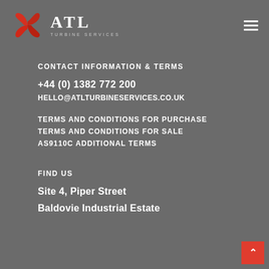[Figure (logo): ATL Turbine Services logo with red swirl icon and white ATL text with 'TURBINE SERVICES' subtitle]
CONTACT INFORMATION & TERMS
+44 (0) 1382 772 200
HELLO@ATLTURBINESERVICES.CO.UK
TERMS AND CONDITIONS FOR PURCHASE
TERMS AND CONDITIONS FOR SALE
AS9110C ADDITIONAL TERMS
FIND US
Site 4, Piper Street
Baldovie Industrial Estate